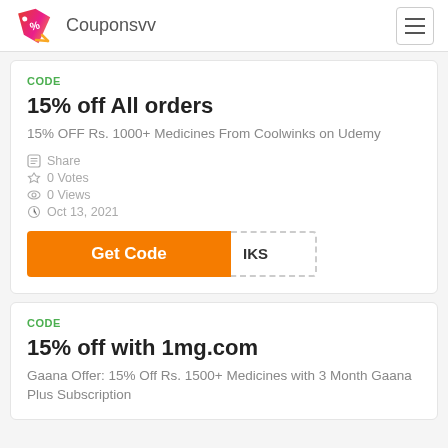Couponsvv
CODE
15% off All orders
15% OFF Rs. 1000+ Medicines From Coolwinks on Udemy
Share  0 Votes  0 Views  Oct 13, 2021
Get Code  IKS
CODE
15% off with 1mg.com
Gaana Offer: 15% Off Rs. 1500+ Medicines with 3 Month Gaana Plus Subscription